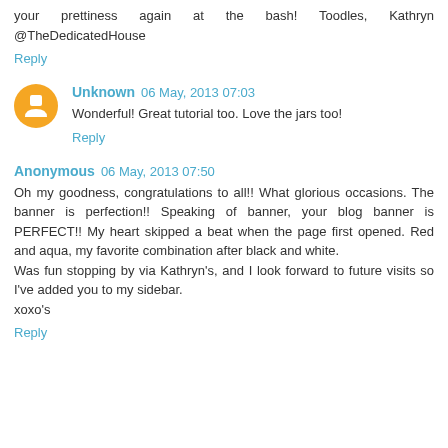your prettiness again at the bash! Toodles, Kathryn @TheDedicatedHouse
Reply
Unknown 06 May, 2013 07:03
Wonderful! Great tutorial too. Love the jars too!
Reply
Anonymous 06 May, 2013 07:50
Oh my goodness, congratulations to all!! What glorious occasions. The banner is perfection!! Speaking of banner, your blog banner is PERFECT!! My heart skipped a beat when the page first opened. Red and aqua, my favorite combination after black and white.
Was fun stopping by via Kathryn's, and I look forward to future visits so I've added you to my sidebar.
xoxo's
Reply